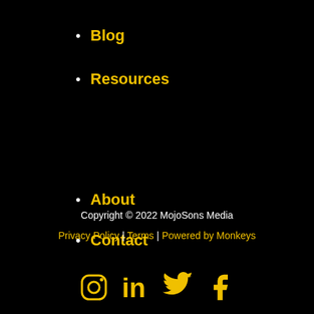Blog
Resources
About
Contact
[Figure (infographic): Social media icons: Instagram, LinkedIn, Twitter, Facebook in gold/yellow color]
Copyright © 2022 MojoSons Media
Privacy Policy | Terms | Powered by Monkeys